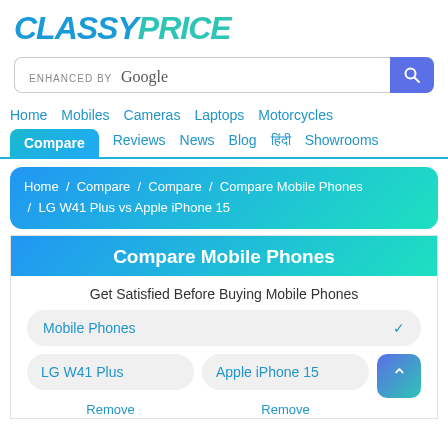[Figure (logo): ClassyPrice logo with CLASSY in blue and PRICE in teal/green, stylized italic bold font]
[Figure (screenshot): Google enhanced search bar with blue search button]
Home   Mobiles   Cameras   Laptops   Motorcycles
Compare   Reviews   News   Blog   हिंदी   Showrooms
Home / Compare / Compare / Compare Mobile Phones / LG W41 Plus vs Apple iPhone 15
Compare Mobile Phones
Get Satisfied Before Buying Mobile Phones
Mobile Phones
LG W41 Plus
Apple iPhone 15
Remove
Remove